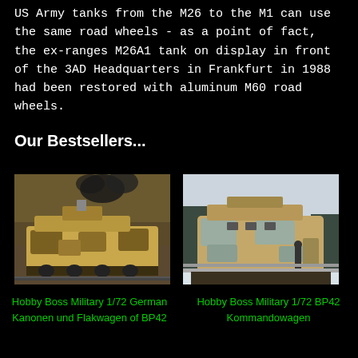US Army tanks from the M26 to the M1 can use the same road wheels - as a point of fact, the ex-ranges M26A1 tank on display in front of the 3AD Headquarters in Frankfurt in 1988 had been restored with aluminum M60 road wheels.
Our Bestsellers...
[Figure (photo): Photo of a German camouflage armored rail vehicle (Kanonen und Flakwagen of BP42) with desert/brown camouflage pattern, smoke rising from it, on rail tracks in an outdoor setting.]
[Figure (photo): Photo of a German BP42 Kommandowagen armored rail car with tan and grey camouflage pattern, a soldier visible nearby, in a snowy outdoor setting.]
Hobby Boss Military 1/72 German Kanonen und Flakwagen of BP42
Hobby Boss Military 1/72 BP42 Kommandowagen